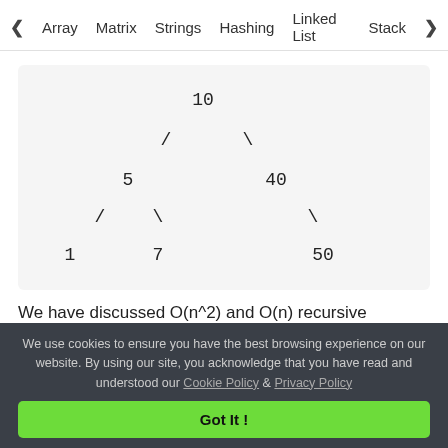< Array   Matrix   Strings   Hashing   Linked List   Stack >
[Figure (other): Binary tree diagram with root 10, left child 5 (with children 1 and 7), right child 40 (with right child 50)]
We have discussed O(n^2) and O(n) recursive solutions in the previous post. Following is a stack based iterative solution that works in O(n) time.
We use cookies to ensure you have the best browsing experience on our website. By using our site, you acknowledge that you have read and understood our Cookie Policy & Privacy Policy
Got It !